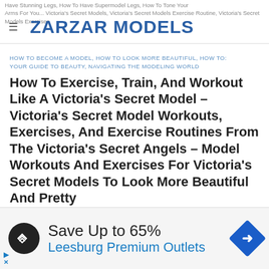Have Stunning Legs, How To Have Supermodel Legs, How To Tone Your Arms For You... Victoria's Secret Models, Victoria's Secret Models Exercise Routine, Victoria's Secret Models Exercises
ZARZAR MODELS
HOW TO BECOME A MODEL, HOW TO LOOK MORE BEAUTIFUL, HOW TO: YOUR GUIDE TO BEAUTY, NAVIGATING THE MODELING WORLD
How To Exercise, Train, And Workout Like A Victoria's Secret Model – Victoria's Secret Model Workouts, Exercises, And Exercise Routines From The Victoria's Secret Angels – Model Workouts And Exercises For Victoria's Secret Models To Look More Beautiful And Pretty
ON JANUARY 1, 2014 BY ZARZAR MODELS
[Figure (infographic): Advertisement banner: Save Up to 65% Leesburg Premium Outlets with logo icon and navigation arrow icon]